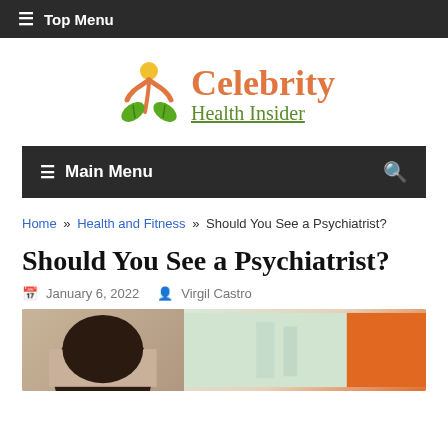≡ Top Menu
[Figure (logo): Celebrity Health Insider logo with orange figure and green leaves icon]
≡ Main Menu  🔍
Home » Health and Fitness » Should You See a Psychiatrist?
Should You See a Psychiatrist?
January 6, 2022   Virgil Castro
[Figure (photo): Partial photo showing the back of a person's head with dark hair, in a clinical or office setting with blurred orange and teal background]